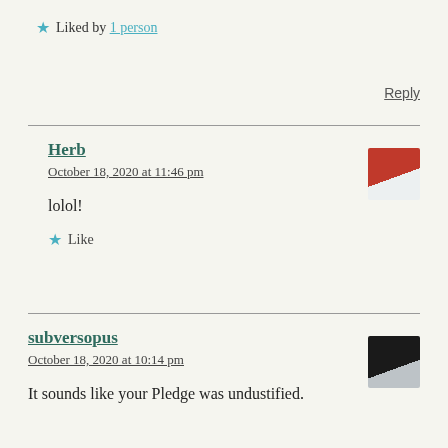★ Liked by 1 person
Reply
Herb
October 18, 2020 at 11:46 pm
lolol!
★ Like
subversopus
October 18, 2020 at 10:14 pm
It sounds like your Pledge was undustified.